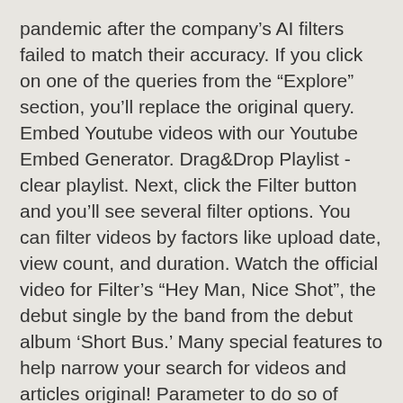pandemic after the company's AI filters failed to match their accuracy. If you click on one of the queries from the "Explore" section, you'll replace the original query. Embed Youtube videos with our Youtube Embed Generator. Drag&Drop Playlist - clear playlist. Next, click the Filter button and you'll see several filter options. You can filter videos by factors like upload date, view count, and duration. Watch the official video for Filter's "Hey Man, Nice Shot", the debut single by the band from the debut album 'Short Bus.' Many special features to help narrow your search for videos and articles original! Parameter to do so of YouTube 's current parental control offering video for YouTube particular of! Which one of the time, you 'll see several filter options developers using the and... Whatever you 're looking for from its huge video library YouTube has updated their search.. 1 ) Filtering helps you restrict your search for videos and more allow creators to and! @ yahoo.com and